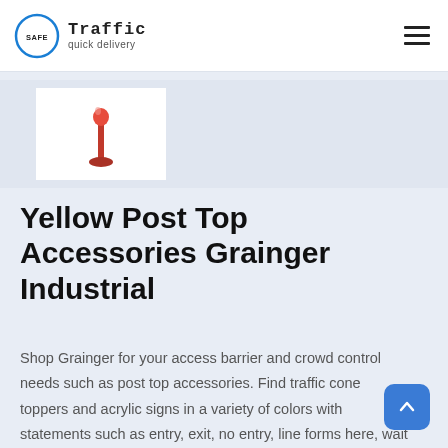Traffic quick delivery
[Figure (photo): Red post top accessory / traffic delineator pin shown on a white background]
Yellow Post Top Accessories Grainger Industrial
Shop Grainger for your access barrier and crowd control needs such as post top accessories. Find traffic cone toppers and acrylic signs in a variety of colors with statements such as entry, exit, no entry, line forms here, wait here, wet floor and more. Choose from a wide range of options in